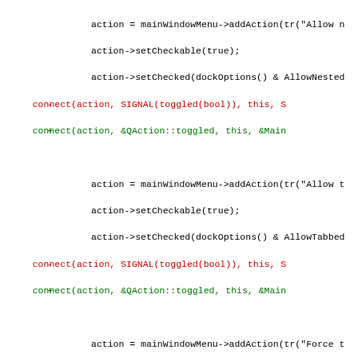Code diff showing connect() refactoring from SIGNAL/SLOT syntax to new Qt5 syntax across multiple action blocks for AllowNested, AllowTabbed, ForceTabbed, VerticalTab, and GroupedDrag options.